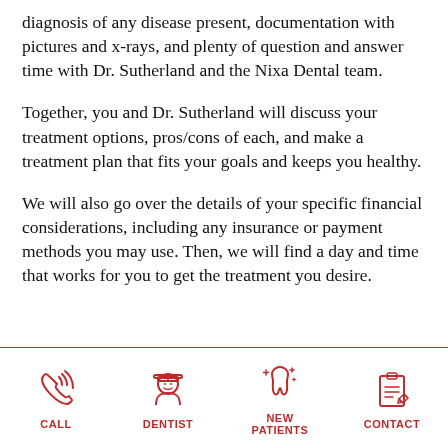diagnosis of any disease present, documentation with pictures and x-rays, and plenty of question and answer time with Dr. Sutherland and the Nixa Dental team.
Together, you and Dr. Sutherland will discuss your treatment options, pros/cons of each, and make a treatment plan that fits your goals and keeps you healthy.
We will also go over the details of your specific financial considerations, including any insurance or payment methods you may use. Then, we will find a day and time that works for you to get the treatment you desire.
[Figure (infographic): Bottom navigation bar with four red icon buttons: CALL (phone icon), DENTIST (dentist/doctor icon), NEW PATIENTS (tooth with sparkle icon), CONTACT (clipboard/message icon)]